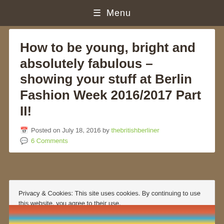≡ Menu
How to be young, bright and absolutely fabulous – showing your stuff at Berlin Fashion Week 2016/2017 Part II!
Posted on July 18, 2016 by thebritishberliner
6 Comments
Privacy & Cookies: This site uses cookies. By continuing to use this website, you agree to their use.
To find out more, including how to control cookies, see here: Cookie Policy
Close and accept
[Figure (photo): Colorful photo strip at the bottom showing people at Berlin Fashion Week]